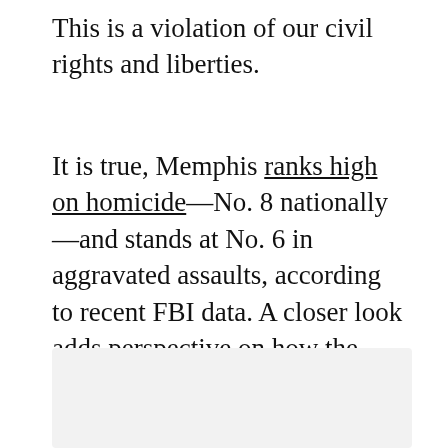This is a violation of our civil rights and liberties.
It is true, Memphis ranks high on homicide—No. 8 nationally—and stands at No. 6 in aggravated assaults, according to recent FBI data. A closer look adds perspective on how the rhetoric of “gang culture” manipulates data to create space for our criminal justice apparatus to engage in regression instead of reform.
[Figure (other): Gray shaded rectangular area at the bottom of the page, likely an image placeholder]